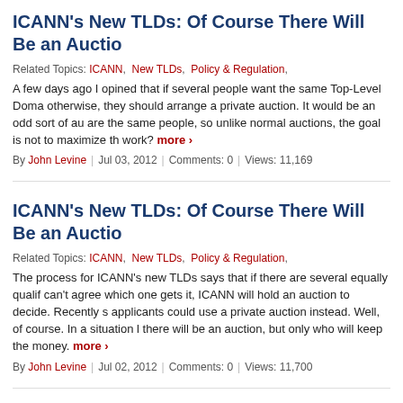ICANN's New TLDs: Of Course There Will Be an Auction
Related Topics: ICANN, New TLDs, Policy & Regulation,
A few days ago I opined that if several people want the same Top-Level Doma... otherwise, they should arrange a private auction. It would be an odd sort of au... are the same people, so unlike normal auctions, the goal is not to maximize th... work? more ›
By John Levine | Jul 03, 2012 | Comments: 0 | Views: 11,169
ICANN's New TLDs: Of Course There Will Be an Auction
Related Topics: ICANN, New TLDs, Policy & Regulation,
The process for ICANN's new TLDs says that if there are several equally qualified applicants, and they can't agree which one gets it, ICANN will hold an auction to decide. Recently s... applicants could use a private auction instead. Well, of course. In a situation l... there will be an auction, but only who will keep the money. more ›
By John Levine | Jul 02, 2012 | Comments: 0 | Views: 11,700
On Search Neutrality
Related Topics: Net Neutrality, Policy & Regulation, Web,
In recent months there's been a robust and apparently well-funded debate abo... results, in particular Google's search results. On Tuesday, Tim Wu, a well-know...